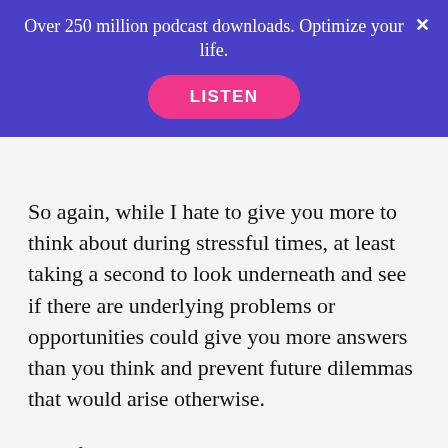Over 250 million podcast downloads. Optimize your life.
[Figure (other): Purple banner with LISTEN button (pink pill-shaped) and close X button]
So again, while I hate to give you more to think about during stressful times, at least taking a second to look underneath and see if there are underlying problems or opportunities could give you more answers than you think and prevent future dilemmas that would arise otherwise.
Also for the record, I believe Diania over